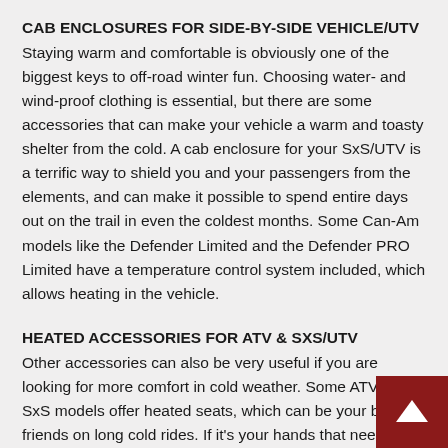CAB ENCLOSURES FOR SIDE-BY-SIDE VEHICLE/UTV
Staying warm and comfortable is obviously one of the biggest keys to off-road winter fun. Choosing water- and wind-proof clothing is essential, but there are some accessories that can make your vehicle a warm and toasty shelter from the cold. A cab enclosure for your SxS/UTV is a terrific way to shield you and your passengers from the elements, and can make it possible to spend entire days out on the trail in even the coldest months. Some Can-Am models like the Defender Limited and the Defender PRO Limited have a temperature control system included, which allows heating in the vehicle.
HEATED ACCESSORIES FOR ATV & SXS/UTV
Other accessories can also be very useful if you are looking for more comfort in cold weather. Some ATV and SxS models offer heated seats, which can be your best friends on long cold rides. If it's your hands that need some love, then Can-Am offers the possibility of adding a Heated Steering Wheel to your side-by-side or Heated Grips to your ATV. These accessories are just as amazing as they sound and you might thank yourself each and